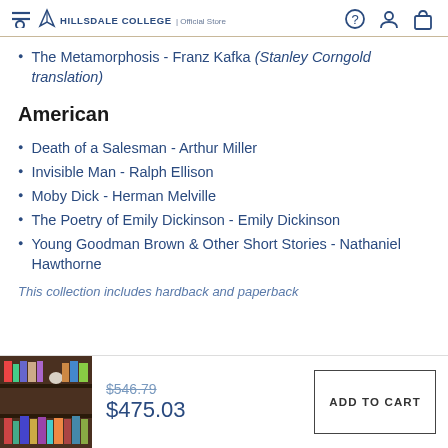Hillsdale College | Official Store
The Metamorphosis - Franz Kafka (Stanley Corngold translation)
American
Death of a Salesman - Arthur Miller
Invisible Man - Ralph Ellison
Moby Dick - Herman Melville
The Poetry of Emily Dickinson - Emily Dickinson
Young Goodman Brown & Other Short Stories - Nathaniel Hawthorne
This collection includes hardback and paperback
[Figure (photo): Bookshelf with books]
$546.79 $475.03
ADD TO CART